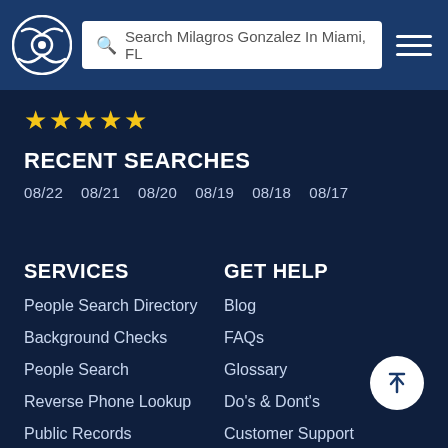Search Milagros Gonzalez In Miami, FL
[Figure (other): Five gold star rating]
RECENT SEARCHES
08/22  08/21  08/20  08/19  08/18  08/17
SERVICES
People Search Directory
Background Checks
People Search
Reverse Phone Lookup
Public Records
GET HELP
Blog
FAQs
Glossary
Do's & Dont's
Customer Support
Why CheckPeople
Testimonials
Do Not Sell My Information